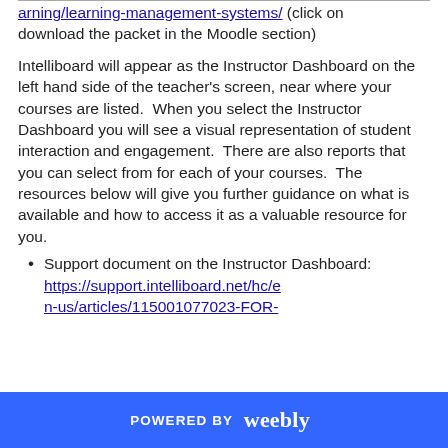arning/learning-management-systems/ (click on download the packet in the Moodle section)
Intelliboard will appear as the Instructor Dashboard on the left hand side of the teacher's screen, near where your courses are listed.  When you select the Instructor Dashboard you will see a visual representation of student interaction and engagement.  There are also reports that you can select from for each of your courses.  The resources below will give you further guidance on what is available and how to access it as a valuable resource for you.
Support document on the Instructor Dashboard: https://support.intelliboard.net/hc/en-us/articles/115001077023-FOR-
POWERED BY weebly